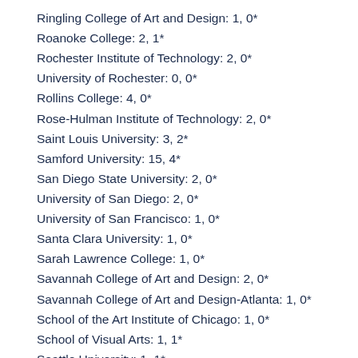Ringling College of Art and Design: 1, 0*
Roanoke College: 2, 1*
Rochester Institute of Technology: 2, 0*
University of Rochester: 0, 0*
Rollins College: 4, 0*
Rose-Hulman Institute of Technology: 2, 0*
Saint Louis University: 3, 2*
Samford University: 15, 4*
San Diego State University: 2, 0*
University of San Diego: 2, 0*
University of San Francisco: 1, 0*
Santa Clara University: 1, 0*
Sarah Lawrence College: 1, 0*
Savannah College of Art and Design: 2, 0*
Savannah College of Art and Design-Atlanta: 1, 0*
School of the Art Institute of Chicago: 1, 0*
School of Visual Arts: 1, 1*
Seattle University: 1, 1*